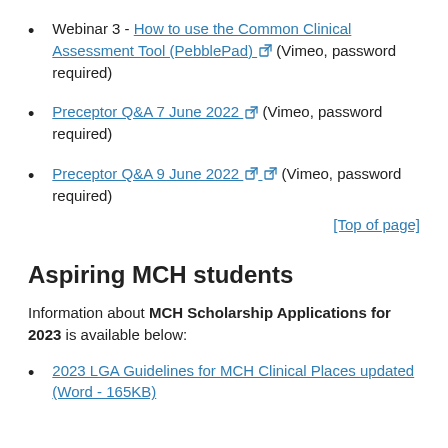Webinar 3 - How to use the Common Clinical Assessment Tool (PebblePad) [external link] (Vimeo, password required)
Preceptor Q&A 7 June 2022 [external link] (Vimeo, password required)
Preceptor Q&A 9 June 2022 [external link] [external link] (Vimeo, password required)
[Top of page]
Aspiring MCH students
Information about MCH Scholarship Applications for 2023 is available below:
2023 LGA Guidelines for MCH Clinical Places updated (Word - 165KB)